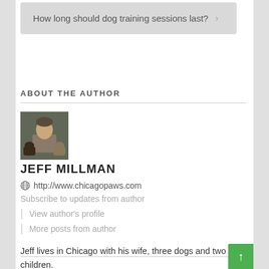How long should dog training sessions last?
ABOUT THE AUTHOR
[Figure (photo): Author photo of Jeff Millman with dogs]
JEFF MILLMAN
http://www.chicagopaws.com
Subscribe to updates from author
View author's profile
More posts from author
Jeff lives in Chicago with his wife, three dogs and two children.